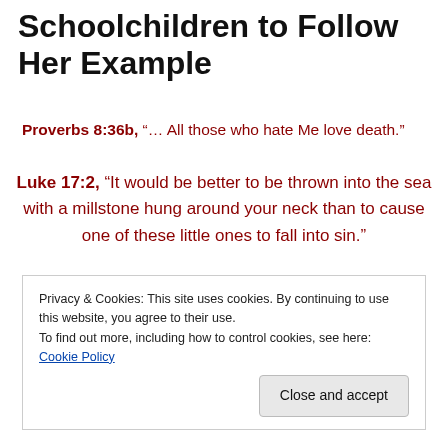Schoolchildren to Follow Her Example
Proverbs 8:36b, “… All those who hate Me love death.”
Luke 17:2, “It would be better to be thrown into the sea with a millstone hung around your neck than to cause one of these little ones to fall into sin.”
[Figure (other): Broken image placeholder]
Privacy & Cookies: This site uses cookies. By continuing to use this website, you agree to their use.
To find out more, including how to control cookies, see here: Cookie Policy